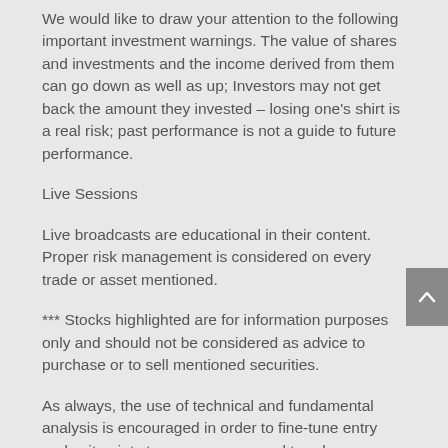We would like to draw your attention to the following important investment warnings. The value of shares and investments and the income derived from them can go down as well as up; Investors may not get back the amount they invested – losing one's shirt is a real risk; past performance is not a guide to future performance.
Live Sessions
Live broadcasts are educational in their content. Proper risk management is considered on every trade or asset mentioned.
*** Stocks highlighted are for information purposes only and should not be considered as advice to purchase or to sell mentioned securities.
As always, the use of technical and fundamental analysis is encouraged in order to fine-tune entry and exit points to average seasonal trends.